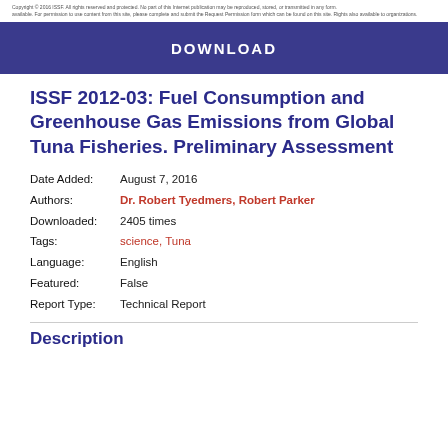Copyright © 2016 ISSF. All rights reserved and protected. No part of this Internet publication may be reproduced, stored, or transmitted in any form.
ISSF 2012-03: Fuel Consumption and Greenhouse Gas Emissions from Global Tuna Fisheries. Preliminary Assessment
Date Added: August 7, 2016
Authors: Dr. Robert Tyedmers, Robert Parker
Downloaded: 2405 times
Tags: science, Tuna
Language: English
Featured: False
Report Type: Technical Report
Description